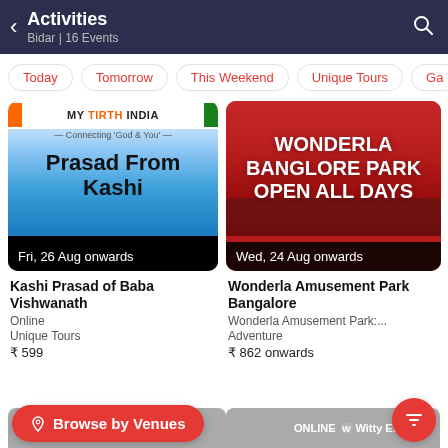Activities
Bidar | 16 Events
Today
Tomorrow
This Weekend
Unique Tours
Ga...
[Figure (photo): Kashi Prasad event card with My Tirth India banner and blue background, date: Fri, 26 Aug onwards]
Kashi Prasad of Baba Vishwanath
Online
Unique Tours
₹ 599
[Figure (photo): Wonderla Bangalore Park Open All Days event card on red background, date: Wed, 24 Aug onwards]
Wonderla Amusement Park Bangalore
Wonderla Amusement Park:...
Adventure
₹ 862 onwards
Browse by Venues